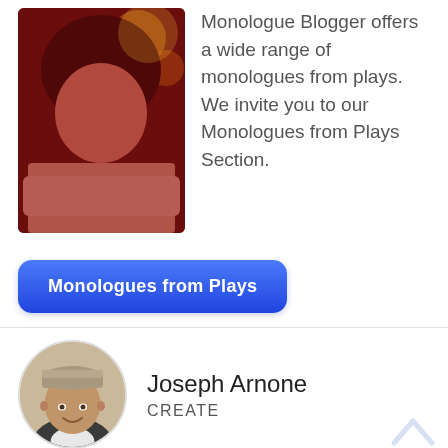[Figure (photo): A person with dark hair lit by red/warm light, resting on arms, atmospheric moody photo]
Monologue Blogger offers a wide range of monologues from plays. We invite you to our Monologues from Plays Section.
[Figure (other): Blue rounded button labeled 'Monologues from Plays']
[Figure (photo): Circular avatar photo of Joseph Arnone wearing a grey beanie hat, smiling]
Joseph Arnone
CREATE